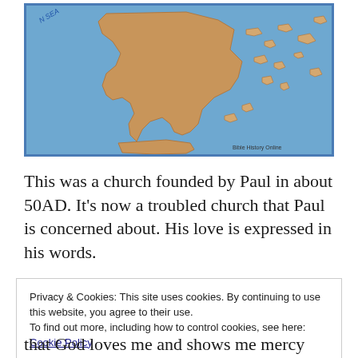[Figure (map): Map of Greece and surrounding Aegean Sea islands, showing landmasses in tan/orange-brown color on a blue sea background. Text 'Bible History Online' in bottom right corner. Partial text 'N SEA' visible at top left.]
This was a church founded by Paul in about 50AD.  It's now a troubled church that Paul is concerned about.  His love is expressed in his words.
Privacy & Cookies: This site uses cookies. By continuing to use this website, you agree to their use.
To find out more, including how to control cookies, see here:
Cookie Policy

Close and accept
that God loves me and shows me mercy (not